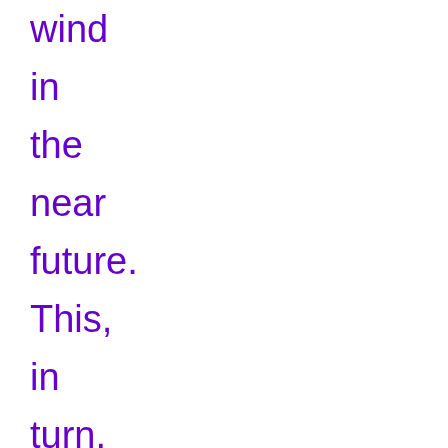wind in the near future. This, in turn, is likely to propel the demand for offshore wind turbines